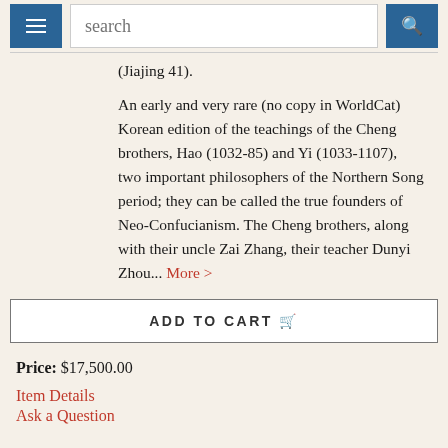search
(Jiajing 41).
An early and very rare (no copy in WorldCat) Korean edition of the teachings of the Cheng brothers, Hao (1032-85) and Yi (1033-1107), two important philosophers of the Northern Song period; they can be called the true founders of Neo-Confucianism. The Cheng brothers, along with their uncle Zai Zhang, their teacher Dunyi Zhou... More >
ADD TO CART
Price: $17,500.00
Item Details
Ask a Question